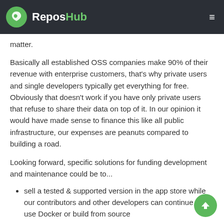ReposHub
matter.
Basically all established OSS companies make 90% of their revenue with enterprise customers, that's why private users and single developers typically get everything for free. Obviously that doesn't work if you have only private users that refuse to share their data on top of it. In our opinion it would have made sense to finance this like all public infrastructure, our expenses are peanuts compared to building a road.
Looking forward, specific solutions for funding development and maintenance could be to...
sell a tested & supported version in the app store while our contributors and other developers can continue to use Docker or build from source
offer a geodata, public events and maps